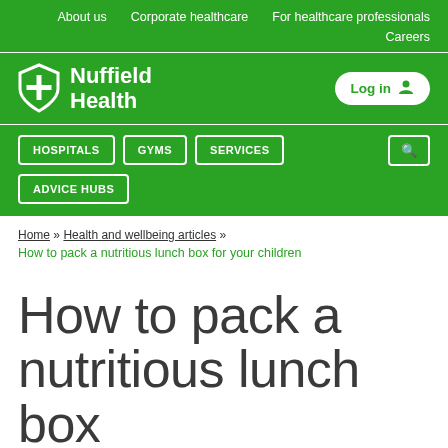About us   Corporate healthcare   For healthcare professionals   Careers
[Figure (logo): Nuffield Health logo with shield icon and white text on green background]
HOSPITALS   GYMS   SERVICES   ADVICE HUBS
Home » Health and wellbeing articles »
How to pack a nutritious lunch box for your children
How to pack a nutritious lunch box for your children